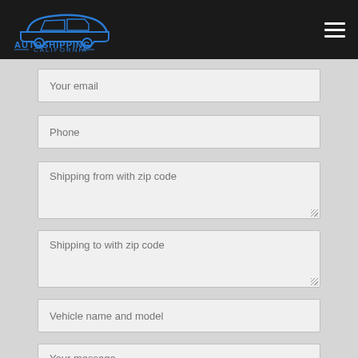[Figure (logo): AutoShipping California logo with car silhouette on dark header bar]
Your email
Phone
Shipping from with zip code
Shipping to with zip code
Vehicle name and model
Your message